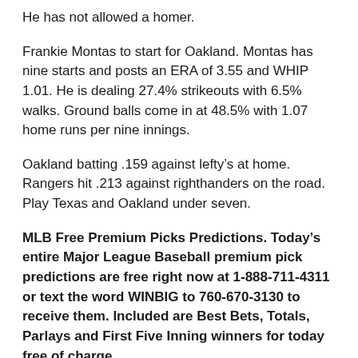He has not allowed a homer.
Frankie Montas to start for Oakland. Montas has nine starts and posts an ERA of 3.55 and WHIP 1.01. He is dealing 27.4% strikeouts with 6.5% walks. Ground balls come in at 48.5% with 1.07 home runs per nine innings.
Oakland batting .159 against lefty’s at home. Rangers hit .213 against righthanders on the road. Play Texas and Oakland under seven.
MLB Free Premium Picks Predictions. Today’s entire Major League Baseball premium pick predictions are free right now at 1-888-711-4311 or text the word WINBIG to 760-670-3130 to receive them. Included are Best Bets, Totals, Parlays and First Five Inning winners for today free of charge.